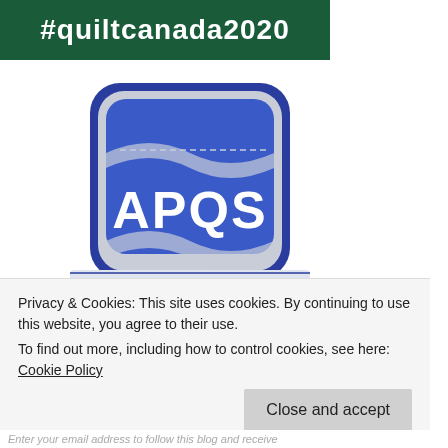#quiltcanada2020
[Figure (logo): APQS Proud Longarm Quilter badge logo — a shield-shaped emblem with silver and blue coloring, featuring 'APQS' in large white letters on a blue background, with a banner ribbon at the bottom reading 'PROUD LONGARM QUILTER' in blue text on silver.]
Privacy & Cookies: This site uses cookies. By continuing to use this website, you agree to their use.
To find out more, including how to control cookies, see here: Cookie Policy
Close and accept
Enter your email address to follow this blog and receive